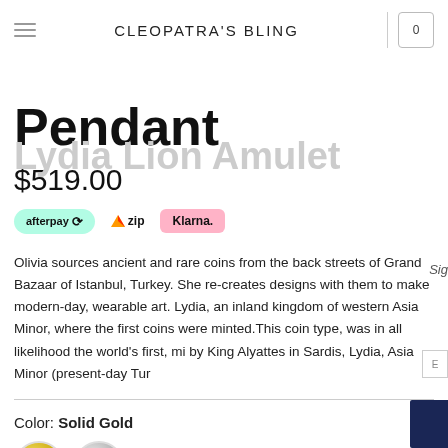CLEOPATRA'S BLING
Lydia Lion Amulet Pendant
$519.00
[Figure (logo): Payment badges: afterpay, zip, Klarna]
Olivia sources ancient and rare coins from the back streets of Grand Bazaar of Istanbul, Turkey. She re-creates designs with them to make modern-day, wearable art. Lydia, an inland kingdom of western Asia Minor, where the first coins were minted.This coin type, was in all likelihood the world's first, minted by King Alyattes in Sardis, Lydia, Asia Minor (present-day Turkey)
Color: Solid Gold